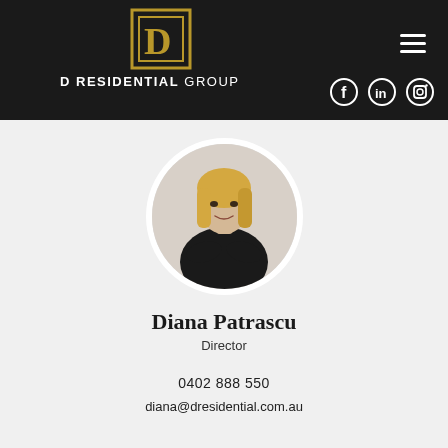[Figure (logo): D Residential Group logo: square with letter D in gold/dark outline on dark background, with text 'D RESIDENTIAL GROUP' below]
[Figure (photo): Circular portrait photo of Diana Patrascu, a blonde woman in a black outfit with arms crossed, smiling]
Diana Patrascu
Director
0402 888 550
diana@dresidential.com.au